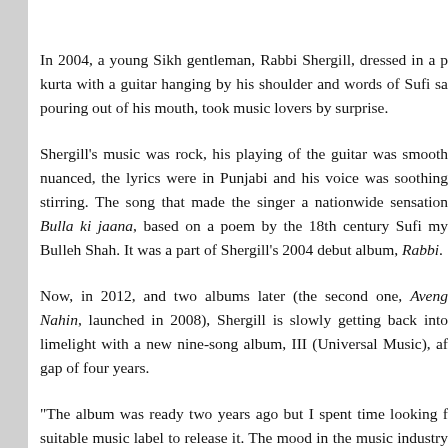In 2004, a young Sikh gentleman, Rabbi Shergill, dressed in a p kurta with a guitar hanging by his shoulder and words of Sufi sa pouring out of his mouth, took music lovers by surprise.
Shergill’s music was rock, his playing of the guitar was smooth nuanced, the lyrics were in Punjabi and his voice was soothing stirring. The song that made the singer a nationwide sensation Bulla ki jaana, based on a poem by the 18th century Sufi my Bulleh Shah. It was a part of Shergill’s 2004 debut album, Rabbi.
Now, in 2012, and two albums later (the second one, Aveng Nahin, launched in 2008), Shergill is slowly getting back into limelight with a new nine-song album, III (Universal Music), af gap of four years.
“The album was ready two years ago but I spent time looking f suitable music label to release it. The mood in the music industry been very anti-independent music,” he says. After releasing I Mumbai’s Hard Rock Cafe on Wednesday, March 14, 2012, a